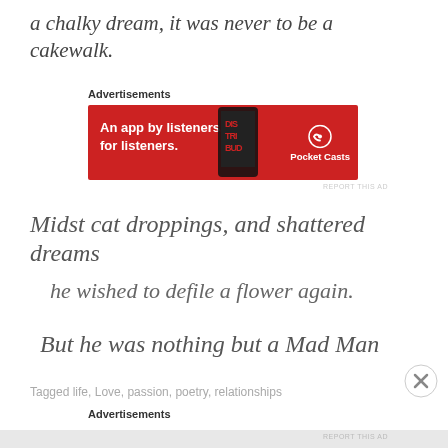a chalky dream, it was never to be a cakewalk.
[Figure (other): Pocket Casts advertisement banner: red background with text 'An app by listeners, for listeners.' and Pocket Casts logo, with a smartphone image]
Midst cat droppings, and shattered dreams
he wished to defile a flower again.
But he was nothing but a Mad Man
Tagged life, Love, passion, poetry, relationships